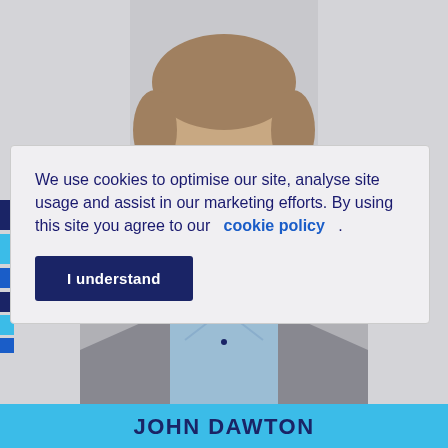[Figure (photo): Headshot photo of a man with light brown hair wearing a light blue dress shirt and grey blazer, against a light grey background. The image is partially obscured by a cookie consent popup overlay.]
We use cookies to optimise our site, analyse site usage and assist in our marketing efforts. By using this site you agree to our  cookie policy  .
I understand
JOHN DAWTON